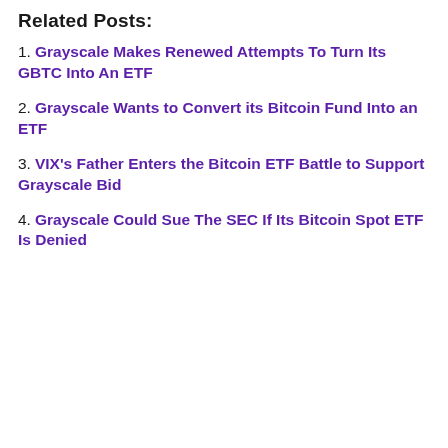Related Posts:
1. Grayscale Makes Renewed Attempts To Turn Its GBTC Into An ETF
2. Grayscale Wants to Convert its Bitcoin Fund Into an ETF
3. VIX's Father Enters the Bitcoin ETF Battle to Support Grayscale Bid
4. Grayscale Could Sue The SEC If Its Bitcoin Spot ETF Is Denied